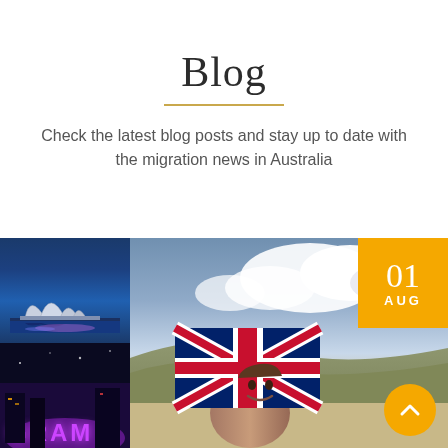Blog
Check the latest blog posts and stay up to date with the migration news in Australia
[Figure (photo): Sydney Opera House at night with blue illuminated water reflection]
[Figure (photo): City lights at night with purple GRAM text lights]
[Figure (photo): Landscape outdoor scene with woman holding a British Union Jack flag, smiling; date badge showing 01 AUG in gold, scroll-up button in gold circle]